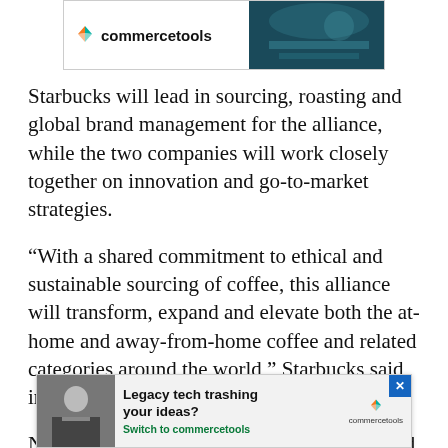[Figure (other): commercetools advertisement banner at top with logo and product image]
Starbucks will lead in sourcing, roasting and global brand management for the alliance, while the two companies will work closely together on innovation and go-to-market strategies.
“With a shared commitment to ethical and sustainable sourcing of coffee, this alliance will transform, expand and elevate both the at-home and away-from-home coffee and related categories around the world,” Starbucks said in a statement.
Neil Saunders, MD of GlobalData Retail, said the so[...] stre[...] e to
[Figure (other): commercetools advertisement overlay at bottom: 'Legacy tech trashing your ideas? Switch to commercetools' with person image and logo, close button]